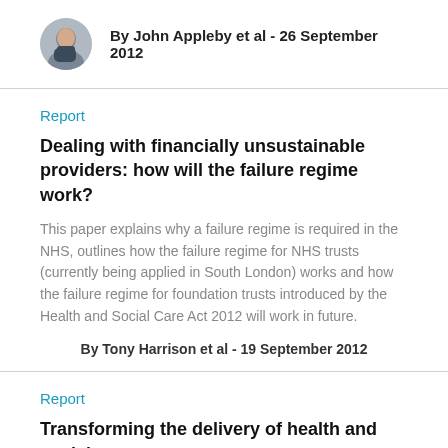By John Appleby et al - 26 September 2012
Report
Dealing with financially unsustainable providers: how will the failure regime work?
This paper explains why a failure regime is required in the NHS, outlines how the failure regime for NHS trusts (currently being applied in South London) works and how the failure regime for foundation trusts introduced by the Health and Social Care Act 2012 will work in future.
By Tony Harrison et al - 19 September 2012
Report
Transforming the delivery of health and social